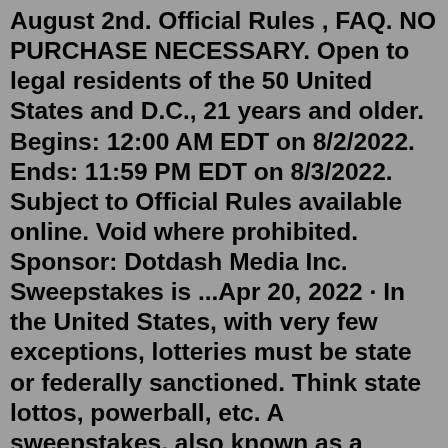August 2nd. Official Rules , FAQ. NO PURCHASE NECESSARY. Open to legal residents of the 50 United States and D.C., 21 years and older. Begins: 12:00 AM EDT on 8/2/2022. Ends: 11:59 PM EDT on 8/3/2022. Subject to Official Rules available online. Void where prohibited. Sponsor: Dotdash Media Inc. Sweepstakes is ...Apr 20, 2022 · In the United States, with very few exceptions, lotteries must be state or federally sanctioned. Think state lottos, powerball, etc. A sweepstakes, also known as a “giveaway”, is a game of chance as well, but it can be run by individual corporations without profiting the state. Running a sweepstakes or contest takes more than just creating a fun way to give away prizes to your customer or readers. Engaging with your customers and trying to attract news ones is an important part of marketing. But the legal issues related to consumer promotions are a significant consideration as well. While it may seem like no one is ...They ran a 12-month sweepstakes campaign (with monthly prizes) to attract new prospects, increase brand awareness...